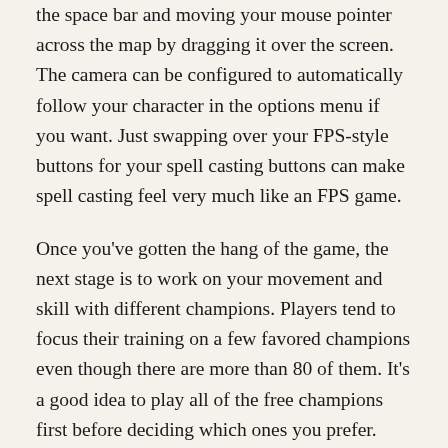the space bar and moving your mouse pointer across the map by dragging it over the screen. The camera can be configured to automatically follow your character in the options menu if you want. Just swapping over your FPS-style buttons for your spell casting buttons can make spell casting feel very much like an FPS game.
Once you've gotten the hang of the game, the next stage is to work on your movement and skill with different champions. Players tend to focus their training on a few favored champions even though there are more than 80 of them. It's a good idea to play all of the free champions first before deciding which ones you prefer. When playing a champion, the most important thing is to have fun, no matter how difficult it may be. Until you locate one of the free week champions that you like, keep playing a rotation of the different free champions.